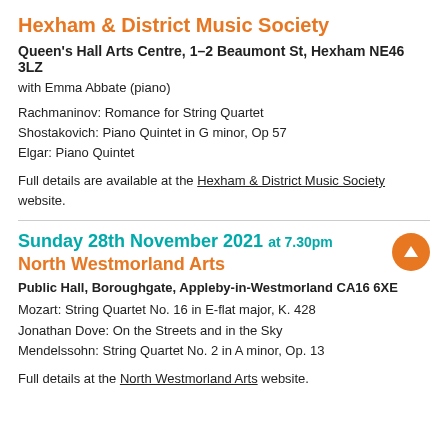Hexham & District Music Society
Queen's Hall Arts Centre, 1–2 Beaumont St, Hexham NE46 3LZ
with Emma Abbate (piano)
Rachmaninov: Romance for String Quartet
Shostakovich: Piano Quintet in G minor, Op 57
Elgar: Piano Quintet
Full details are available at the Hexham & District Music Society website.
Sunday 28th November 2021 at 7.30pm
North Westmorland Arts
Public Hall, Boroughgate, Appleby-in-Westmorland CA16 6XE
Mozart: String Quartet No. 16 in E-flat major, K. 428
Jonathan Dove: On the Streets and in the Sky
Mendelssohn: String Quartet No. 2 in A minor, Op. 13
Full details at the North Westmorland Arts website.